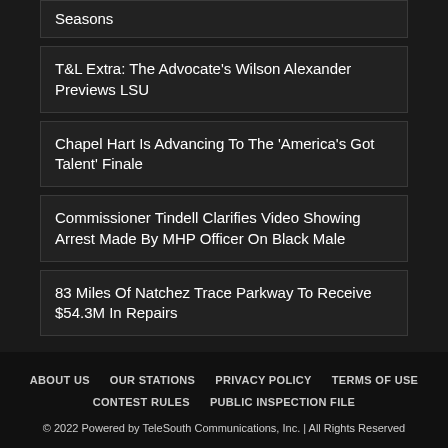Seasons
T&L Extra: The Advocate's Wilson Alexander Previews LSU
Chapel Hart Is Advancing To The 'America's Got Talent' Finale
Commissioner Tindell Clarifies Video Showing Arrest Made By MHP Officer On Black Male
83 Miles Of Natchez Trace Parkway To Receive $54.3M In Repairs
ABOUT US | OUR STATIONS | PRIVACY POLICY | TERMS OF USE | CONTEST RULES | PUBLIC INSPECTION FILE | © 2022 Powered by TeleSouth Communications, Inc. | All Rights Reserved